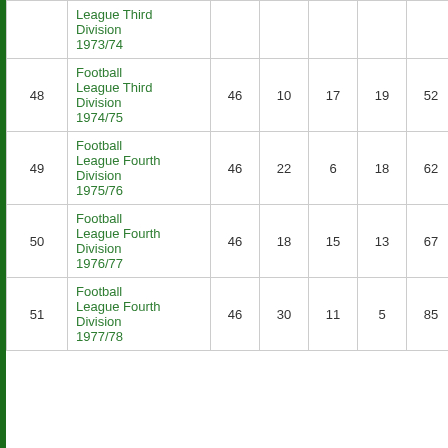| # | Competition | P | W | D | L | F | A | Pts |
| --- | --- | --- | --- | --- | --- | --- | --- | --- |
|  | Football League Third Division 1973/74 |  |  |  |  |  |  |  |
| 48 | Football League Third Division 1974/75 | 46 | 10 | 17 | 19 | 52 | 75 | 37 |
| 49 | Football League Fourth Division 1975/76 | 46 | 22 | 6 | 18 | 62 | 62 | 50 |
| 50 | Football League Fourth Division 1976/77 | 46 | 18 | 15 | 13 | 67 | 50 | 51 |
| 51 | Football League Fourth Division 1977/78 | 46 | 30 | 11 | 5 | 85 | 38 | 71 |